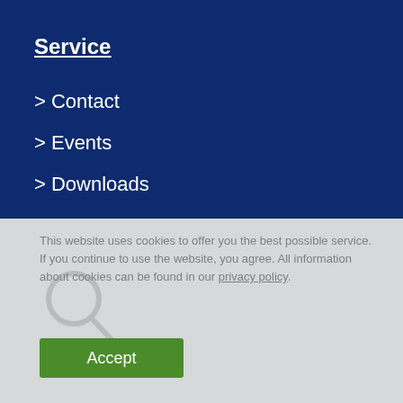Service
> Contact
> Events
> Downloads
This website uses cookies to offer you the best possible service. If you continue to use the website, you agree. All information about cookies can be found in our privacy policy.
Accept